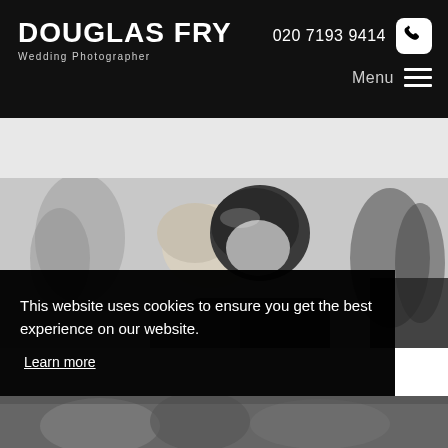DOUGLAS FRY Wedding Photographer | 020 7193 9414 | Menu
[Figure (photo): Black and white wedding photo showing a couple embracing, man with dark hair bowing head, woman with lighter hair, blurred guests in background]
This website uses cookies to ensure you get the best experience on our website.
Learn more
Got it!
[Figure (photo): Black and white wedding photo strip at bottom of page]